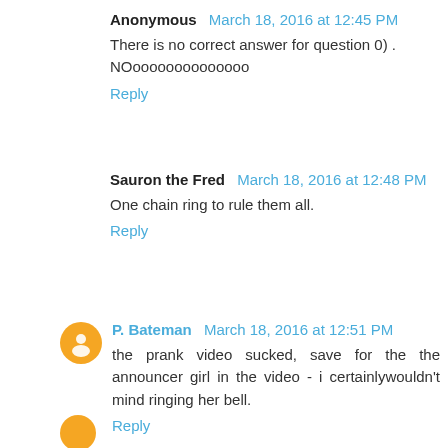Anonymous March 18, 2016 at 12:45 PM
There is no correct answer for question 0) . NOoooooooooooooo
Reply
Sauron the Fred March 18, 2016 at 12:48 PM
One chain ring to rule them all.
Reply
P. Bateman March 18, 2016 at 12:51 PM
the prank video sucked, save for the the announcer girl in the video - i certainlywouldn't mind ringing her bell.
Reply